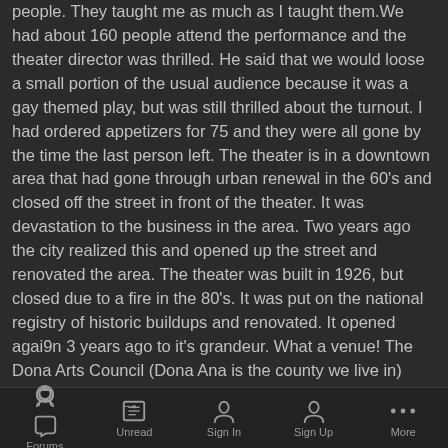people. They taught me as much as I taught them.We had about 160 people attend the performance and the theater director was thrilled. He said that we would loose a small portion of the usual audience because it was a gay themed play, but was still thrilled about the turnout. I had ordered appetizers for 75 and they were all gone by the time the last person left. The theater is in a downtown area that had gone through urban renewal in the 60's and closed off the street in front of the theater. It was devastation to the business in the area. Two years ago the city realized this and opened up the street and renovated the area. The theater was built in 1926, but closed due to a fire in the 80's. It was put on the national registry of historic buildups and renovated. It opened agai9n 3 years ago to it's grandeur. What a venue! The Dona Arts Council (Dona Ana is the county we live in) bought the theater and did the work.Let me tell you about the performance. These kids did something absolutely amazing. I watched from the rear of
Forums | Unread | Sign In | Sign Up | More